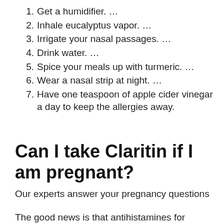1. Get a humidifier. …
2. Inhale eucalyptus vapor. …
3. Irrigate your nasal passages. …
4. Drink water. …
5. Spice your meals up with turmeric. …
6. Wear a nasal strip at night. …
7. Have one teaspoon of apple cider vinegar a day to keep the allergies away.
Can I take Claritin if I am pregnant?
Our experts answer your pregnancy questions
The good news is that antihistamines for